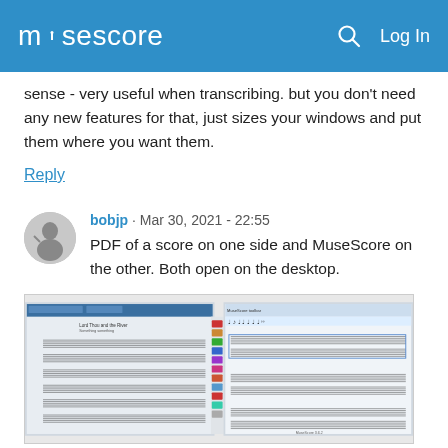musescore  Log In
sense - very useful when transcribing. but you don't need any new features for that, just sizes your windows and put them where you want them.
Reply
bobjp · Mar 30, 2021 - 22:55
PDF of a score on one side and MuseScore on the other. Both open on the desktop.
[Figure (screenshot): Screenshot showing a PDF of a musical score on the left side and MuseScore application on the right side, both open on the desktop.]